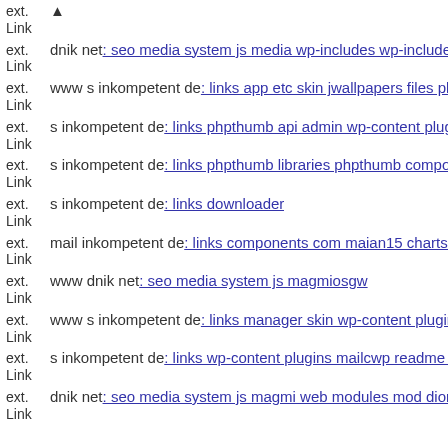ext. Link ▲
ext. Link dnik net: seo media system js media wp-includes wp-includes
ext. Link www s inkompetent de: links app etc skin jwallpapers files plu
ext. Link s inkompetent de: links phpthumb api admin wp-content plugin
ext. Link s inkompetent de: links phpthumb libraries phpthumb compone
ext. Link s inkompetent de: links downloader
ext. Link mail inkompetent de: links components com maian15 charts ph
ext. Link www dnik net: seo media system js magmiosgw
ext. Link www s inkompetent de: links manager skin wp-content plugins
ext. Link s inkompetent de: links wp-content plugins mailcwp readme tx
ext. Link dnik net: seo media system js magmi web modules mod dionef